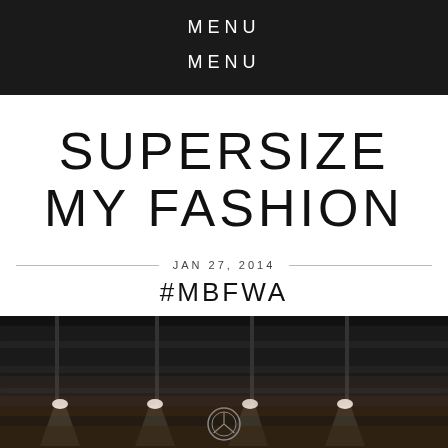MENU
MENU
SUPERSIZE MY FASHION
JAN 27, 2014
#MBFWA
[Figure (photo): Dark interior of a large venue with dramatic architectural ceiling featuring metal ribs and spotlights illuminating the space, Mercedes-Benz logo projected on the wall, Mercedes-Benz text visible at the bottom]